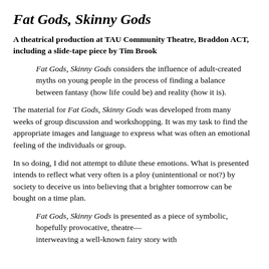Fat Gods, Skinny Gods
A theatrical production at TAU Community Theatre, Braddon ACT, including a slide-tape piece by Tim Brook
Fat Gods, Skinny Gods considers the influence of adult-created myths on young people in the process of finding a balance between fantasy (how life could be) and reality (how it is).
The material for Fat Gods, Skinny Gods was developed from many weeks of group discussion and workshopping. It was my task to find the appropriate images and language to express what was often an emotional feeling of the individuals or group.
In so doing, I did not attempt to dilute these emotions. What is presented intends to reflect what very often is a ploy (unintentional or not?) by society to deceive us into believing that a brighter tomorrow can be bought on a time plan.
Fat Gods, Skinny Gods is presented as a piece of symbolic, hopefully provocative, theatre—interweaving a well-known fairy story with…